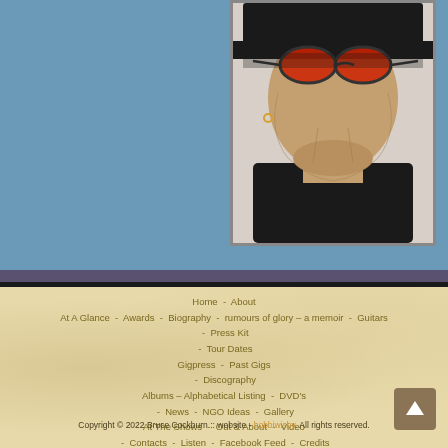[Figure (photo): Black and white / color photograph of a person looking upward, wearing a black hat and red-tinted sunglasses, with a small earring, dressed in black. The photo is cropped tightly showing face and neck area against a light background.]
Home - About - At A Glance - Awards - Biography - rumours of glory – a memoir - Guitars - Press Kit - Tour Dates - Gigpress - Past Gigs - Discography - Albums – Alphabetical Listing - DVD's - News - NGO Ideas - Gallery - At The Shows - Out & About - Video - Contacts - Listen - Facebook Feed - Credits
Copyright © 2022 Bruce Cockburn :: website - bobbiwisby. All rights reserved.